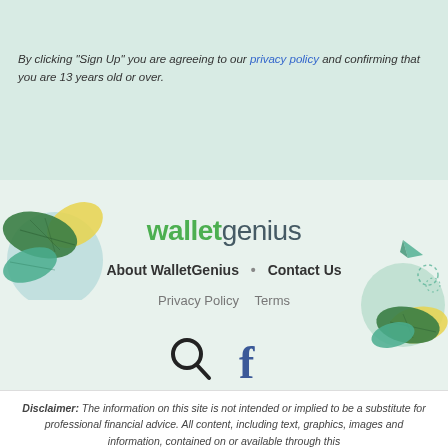By clicking "Sign Up" you are agreeing to our privacy policy and confirming that you are 13 years old or over.
[Figure (illustration): Decorative plant leaves illustration on left side of footer area]
walletgenius
About WalletGenius  •  Contact Us
Privacy Policy   Terms
[Figure (illustration): Search icon (magnifying glass) and Facebook social media icon]
[Figure (illustration): Decorative plant leaves illustration on right side]
Disclaimer: The information on this site is not intended or implied to be a substitute for professional financial advice. All content, including text, graphics, images and information, contained on or available through this